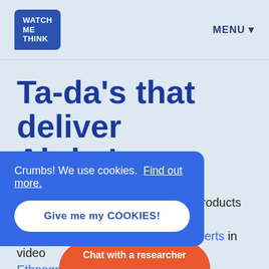WATCH ME THINK | MENU
Ta-da’s that deliver Ah-ha’s
No-nonsense insights to improve products and identify opportunities. From the experts in video Ethnography.
Crumbs! We use cookies. Find out more.
Give me my COOKIES!
Chat with a researcher